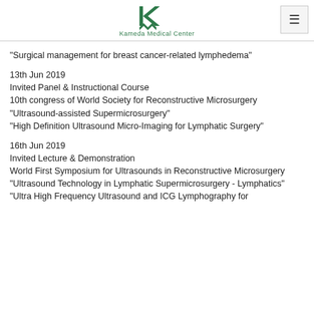Kameda Medical Center
"Surgical management for breast cancer-related lymphedema"
13th Jun 2019
Invited Panel & Instructional Course
10th congress of World Society for Reconstructive Microsurgery
"Ultrasound-assisted Supermicrosurgery"
"High Definition Ultrasound Micro-Imaging for Lymphatic Surgery"
16th Jun 2019
Invited Lecture & Demonstration
World First Symposium for Ultrasounds in Reconstructive Microsurgery
"Ultrasound Technology in Lymphatic Supermicrosurgery - Lymphatics"
"Ultra High Frequency Ultrasound and ICG Lymphography for